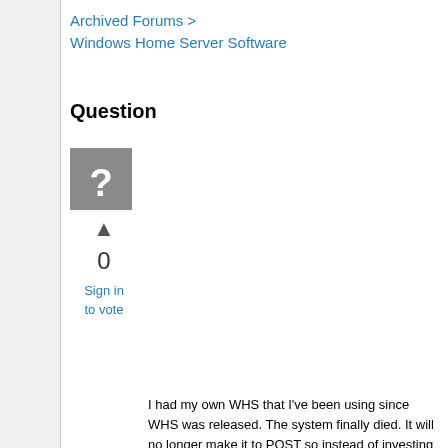Archived Forums > Windows Home Server Software
Question
[Figure (other): Gray square icon with a white question mark, used as a default user/question avatar]
▲
0
Sign in
to vote
I had my own WHS that I've been using since WHS was released.  The system finally died.  It will no longer make it to POST so instead of investing in a new MB, processor, memory etc.  I just bought one from Acer.  I like it a lot btw.  Anyway, my old server had 2 IDE drives and one SATA drive.  How do I get the data off of these drives?  If I put the SATA in my ACER WHS it wants to format the drive as part of the add process.  I can't use the other 2 IDE drives but I did buy a converter that lets me plug the IDE drives into a USB 2.0 port.  I can access the drive and I see all of the directories I want to copy over but it will not let me access the files.  How